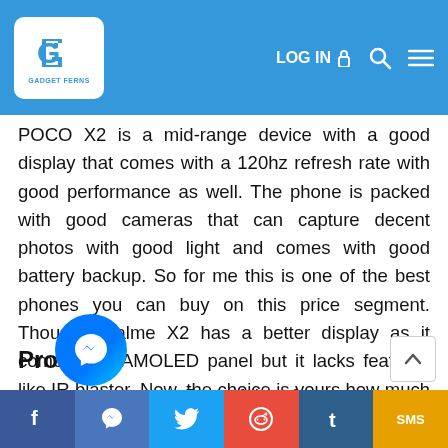Gadget Ferns - LOG IN
POCO X2 is a mid-range device with a good display that comes with a 120hz refresh rate with good performance as well. The phone is packed with good cameras that can capture decent photos with good light and comes with good battery backup. So for me this is one of the best phones you can buy on this price segment. Though Realme X2 has a better display as it comes with AMOLED panel but it lacks features like IR blaster. Now, the choice is yours how much an AMOLED screen is important to you.
Pros
Powerful performance
Android 10 based software
Share social bar: Facebook, Messenger, Twitter, Reddit, Tumblr, SMS